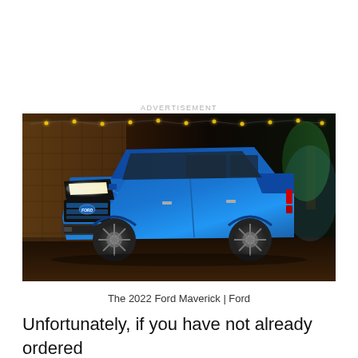ADVERTISEMENT
[Figure (photo): A blue 2022 Ford Maverick pickup truck photographed at night with string lights in the background, facing front-left angle.]
The 2022 Ford Maverick | Ford
Unfortunately, if you have not already ordered a Ford Maverick, the best you can do is review…